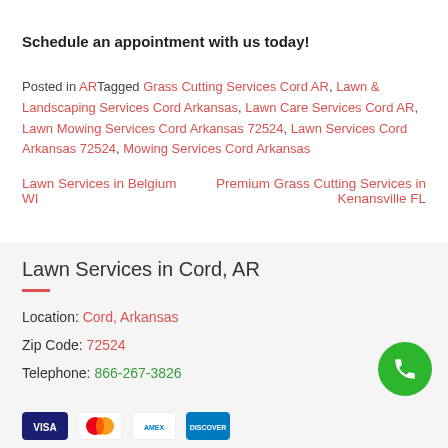Schedule an appointment with us today!
Posted in ARTagged Grass Cutting Services Cord AR, Lawn & Landscaping Services Cord Arkansas, Lawn Care Services Cord AR, Lawn Mowing Services Cord Arkansas 72524, Lawn Services Cord Arkansas 72524, Mowing Services Cord Arkansas
Lawn Services in Belgium WI    Premium Grass Cutting Services in Kenansville FL
Lawn Services in Cord, AR
Location: Cord, Arkansas
Zip Code: 72524
Telephone: 866-267-3826